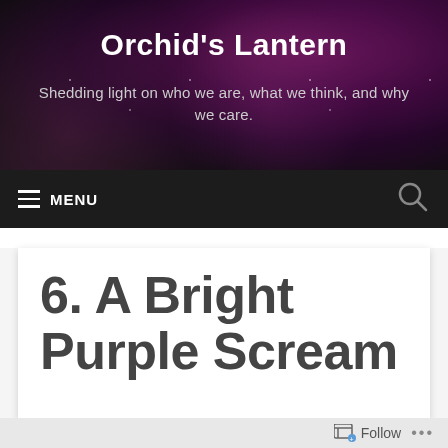Orchid's Lantern
Shedding light on who we are, what we think, and why we care.
≡ MENU
6. A Bright Purple Scream
Follow ...